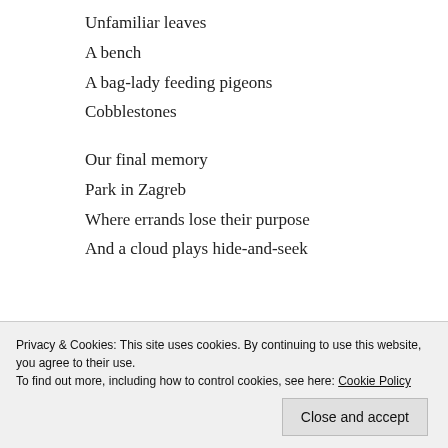Unfamiliar leaves
A bench
A bag-lady feeding pigeons
Cobblestones
Our final memory
Park in Zagreb
Where errands lose their purpose
And a cloud plays hide-and-seek
She never minds walking
Privacy & Cookies: This site uses cookies. By continuing to use this website, you agree to their use. To find out more, including how to control cookies, see here: Cookie Policy